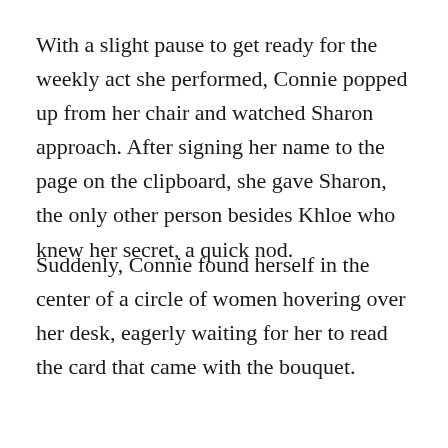With a slight pause to get ready for the weekly act she performed, Connie popped up from her chair and watched Sharon approach. After signing her name to the page on the clipboard, she gave Sharon, the only other person besides Khloe who knew her secret, a quick nod.
Suddenly, Connie found herself in the center of a circle of women hovering over her desk, eagerly waiting for her to read the card that came with the bouquet.